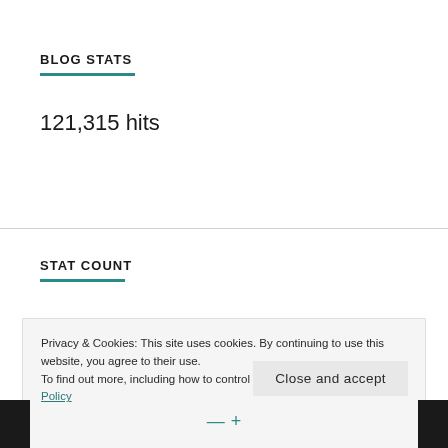BLOG STATS
121,315 hits
STAT COUNT
Privacy & Cookies: This site uses cookies. By continuing to use this website, you agree to their use.
To find out more, including how to control cookies, see here: Cookie Policy
Close and accept